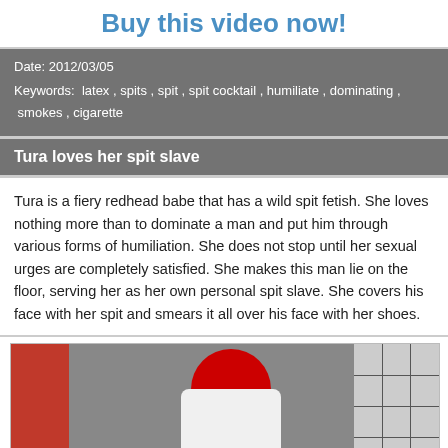Buy this video now!
Date: 2012/03/05
Keywords: latex , spits , spit , spit cocktail , humiliate , dominating , smokes , cigarette
Tura loves her spit slave
Tura is a fiery redhead babe that has a wild spit fetish. She loves nothing more than to dominate a man and put him through various forms of humiliation. She does not stop until her sexual urges are completely satisfied. She makes this man lie on the floor, serving her as her own personal spit slave. She covers his face with her spit and smears it all over his face with her shoes.
[Figure (photo): Woman with bright red hair sitting on the floor in a room with dark curtains and a shoji screen panel on the right]